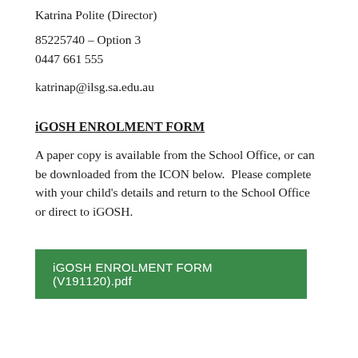Katrina Polite (Director)
85225740 – Option 3
0447 661 555
katrinap@ilsg.sa.edu.au
iGOSH ENROLMENT FORM
A paper copy is available from the School Office, or can be downloaded from the ICON below.  Please complete with your child's details and return to the School Office or direct to iGOSH.
[Figure (other): Green button/icon link labeled 'iGOSH ENROLMENT FORM (V191120).pdf']